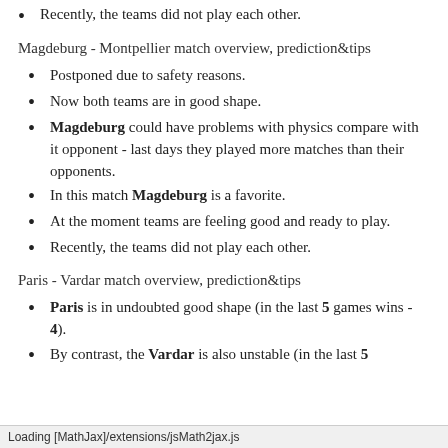Recently, the teams did not play each other.
Magdeburg - Montpellier match overview, prediction&tips
Postponed due to safety reasons.
Now both teams are in good shape.
Magdeburg could have problems with physics compare with it opponent - last days they played more matches than their opponents.
In this match Magdeburg is a favorite.
At the moment teams are feeling good and ready to play.
Recently, the teams did not play each other.
Paris - Vardar match overview, prediction&tips
Paris is in undoubted good shape (in the last 5 games wins - 4).
By contrast, the Vardar is also unstable (in the last 5
Loading [MathJax]/extensions/jsMath2jax.js